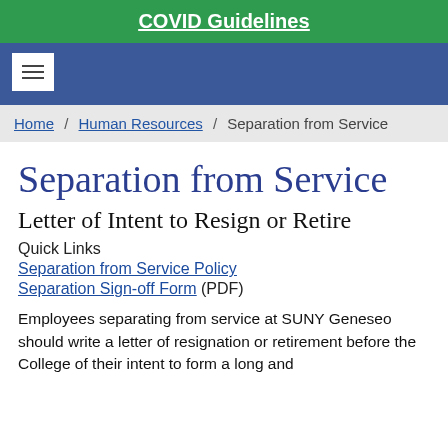COVID Guidelines
Home / Human Resources / Separation from Service
Separation from Service
Letter of Intent to Resign or Retire
Quick Links
Separation from Service Policy
Separation Sign-off Form (PDF)
Employees separating from service at SUNY Geneseo should write a letter of resignation or retirement before the College of their intent to form a long and